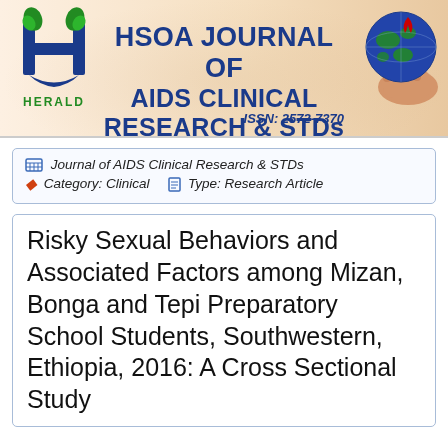[Figure (logo): HSOA Journal of AIDS Clinical Research & STDs banner header with Herald logo on left, globe with AIDS ribbon on right, journal title in blue bold text, ISSN: 2572-7370]
Journal of AIDS Clinical Research & STDs  Category: Clinical  Type: Research Article
Risky Sexual Behaviors and Associated Factors among Mizan, Bonga and Tepi Preparatory School Students, Southwestern, Ethiopia, 2016: A Cross Sectional Study